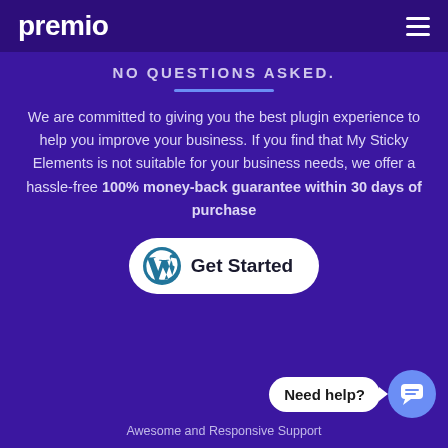premio
NO QUESTIONS ASKED.
We are committed to giving you the best plugin experience to help you improve your business. If you find that My Sticky Elements is not suitable for your business needs, we offer a hassle-free 100% money-back guarantee within 30 days of purchase
[Figure (screenshot): Get Started button with WordPress logo icon]
[Figure (screenshot): Need help? chat bubble and circular chat icon button]
Awesome and Responsive Support